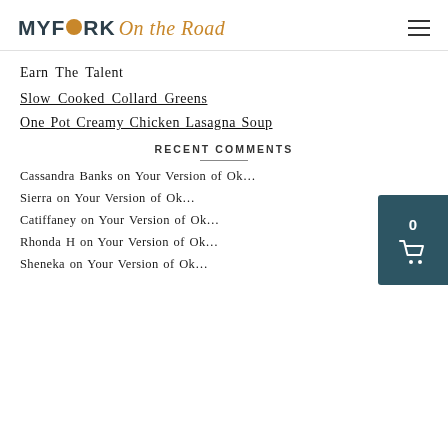MY FORK On the Road
Earn The Talent
Slow Cooked Collard Greens
One Pot Creamy Chicken Lasagna Soup
RECENT COMMENTS
Cassandra Banks on Your Version of Ok…
Sierra on Your Version of Ok…
Catiffaney on Your Version of Ok…
Rhonda H on Your Version of Ok…
Sheneka on Your Version of Ok…